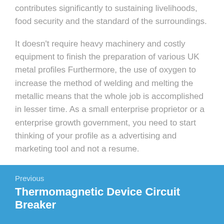contributes significantly to sustaining livelihoods, food security and the standard of the surroundings.
It doesn't require heavy machinery and costly equipment to finish the preparation of various UK metal profiles Furthermore, the use of oxygen to increase the method of welding and melting the metallic means that the whole job is accomplished in lesser time. As a small enterprise proprietor or a enterprise growth government, you need to start thinking of your profile as a advertising and marketing tool and not a resume.
Previous
Thermomagnetic Device Circuit Breaker